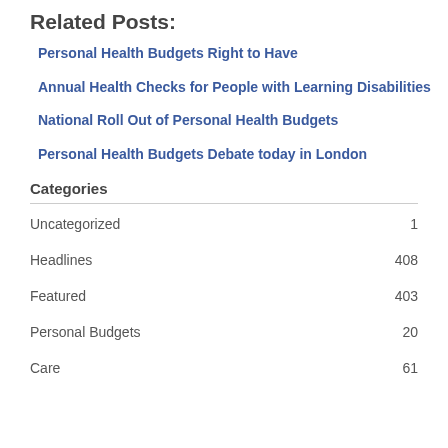Related Posts:
Personal Health Budgets Right to Have
Annual Health Checks for People with Learning Disabilities
National Roll Out of Personal Health Budgets
Personal Health Budgets Debate today in London
Categories
| Category | Count |
| --- | --- |
| Uncategorized | 1 |
| Headlines | 408 |
| Featured | 403 |
| Personal Budgets | 20 |
| Care | 61 |